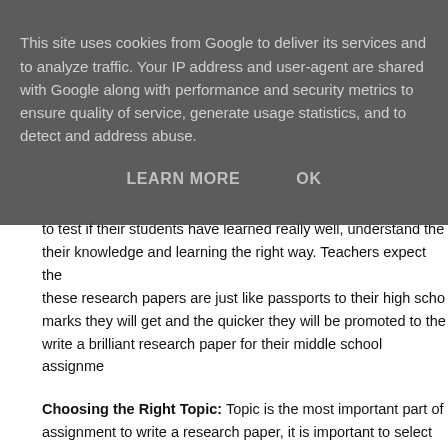This site uses cookies from Google to deliver its services and to analyze traffic. Your IP address and user-agent are shared with Google along with performance and security metrics to ensure quality of service, generate usage statistics, and to detect and address abuse.
LEARN MORE   OK
to test if their students have learned really well, understand their knowledge and learning the right way. Teachers expect these research papers are just like passports to their high school marks they will get and the quicker they will be promoted to write a brilliant research paper for their middle school assignment.
Choosing the Right Topic: Topic is the most important part of assignment to write a research paper, it is important to select the not right or to their liking, students will find it very hard to work class.
Gathering the Most Relevant Information: A research paper putting it together in such a manner that is becomes relevant information according to the give topic and subject is the first task.